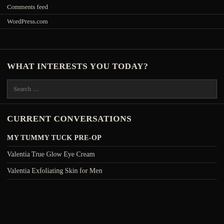Comments feed
WordPress.com
WHAT INTERESTS YOU TODAY?
Search …
CURRENT CONVERSATIONS
MY TUMMY TUCK PRE-OP
Valentia True Glow Eye Cream
Valentia Exfoliating Skin for Men